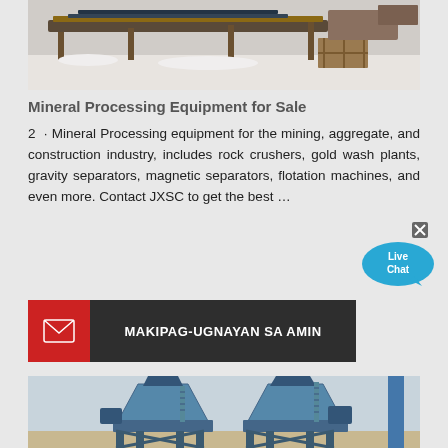[Figure (photo): Industrial mining conveyor belt equipment outdoors in snowy/winter conditions, with wooden crates and machinery visible.]
Mineral Processing Equipment for Sale
2 · Mineral Processing equipment for the mining, aggregate, and construction industry, includes rock crushers, gold wash plants, gravity separators, magnetic separators, flotation machines, and even more. Contact JXSC to get the best …
[Figure (infographic): Live Chat bubble widget with X close button, teal/blue speech bubble with 'Live Chat' text in white.]
[Figure (infographic): Contact button: red box with white envelope icon on left, dark background with white bold text 'MAKIPAG-UGNAYAN SA AMIN']
[Figure (photo): Two large blue industrial cone crushers on elevated steel frame structures at a mining/quarry site, with scaffolding and sandy ground.]